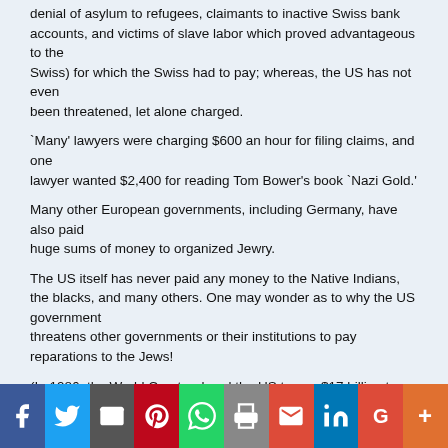denial of asylum to refugees, claimants to inactive Swiss bank accounts, and victims of slave labor which proved advantageous to the
Swiss) for which the Swiss had to pay; whereas, the US has not even
been threatened, let alone charged.
`Many' lawyers were charging $600 an hour for filing claims, and one
lawyer wanted $2,400 for reading Tom Bower's book `Nazi Gold.'
Many other European governments, including Germany, have also paid
huge sums of money to organized Jewry.
The US itself has never paid any money to the Native Indians, the blacks, and many others. One may wonder as to why the US government
threatens other governments or their institutions to pay reparations to the Jews!
(In 1986, the World Court ordered the US to pay $17 billion to Nicaragua for multiple crimes. The US ignored the verdict.)
Most interesting to note: Finkelstein says, `The Holocaust's mystery,
Wiesel avows, is `noncommunicable;' `we cannot even talk about
Share buttons: Facebook, Twitter, Email, Pinterest, WhatsApp, Print, Gmail, LinkedIn, Google, More